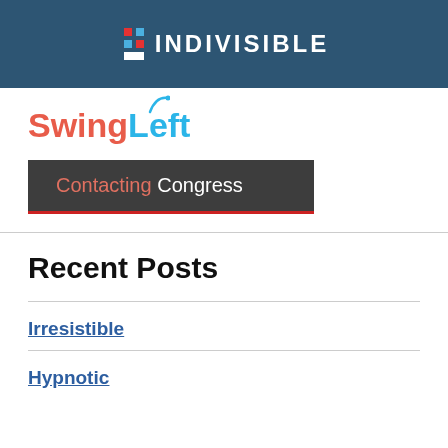[Figure (logo): Indivisible logo on dark blue background with white uppercase text INDIVISIBLE and small icon with red and blue elements]
[Figure (logo): SwingLeft logo with Swing in red/coral and Left in cyan/light blue, with a blue swirl accent above]
[Figure (logo): Contacting Congress logo on dark grey background with red accent bar at bottom, Contacting in salmon/coral and Congress in white]
Recent Posts
Irresistible
Hypnotic